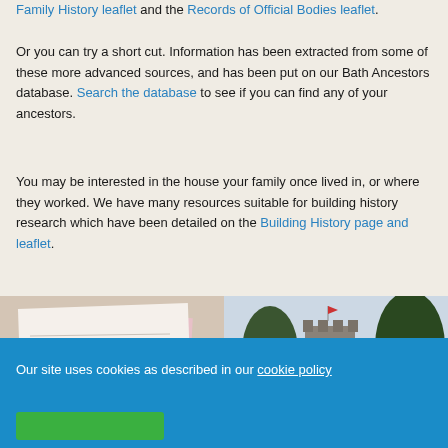Family History leaflet and the Records of Official Bodies leaflet.
Or you can try a short cut. Information has been extracted from some of these more advanced sources, and has been put on our Bath Ancestors database. Search the database to see if you can find any of your ancestors.
You may be interested in the house your family once lived in, or where they worked. We have many resources suitable for building history research which have been detailed on the Building History page and leaflet.
[Figure (photo): Two photos side by side: left shows handwritten historical documents/papers; right shows a church tower with trees and a monument.]
Our site uses cookies as described in our cookie policy